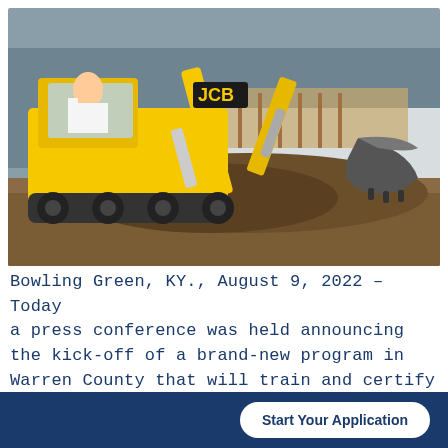[Figure (photo): A yellow JCB backhoe loader at a construction site digging into dirt, with a worker visible in the cab. Snow and wooden structures visible in the background.]
Bowling Green, KY., August 9, 2022 – Today a press conference was held announcing the kick-off of a brand-new program in Warren County that will train and certify local residents interested in heavy equipment operation as a career. This new
Start Your Application